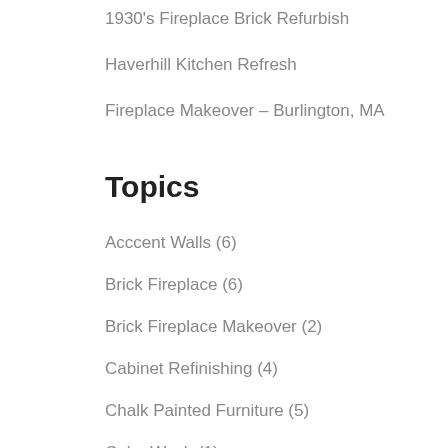1930's Fireplace Brick Refurbish
Haverhill Kitchen Refresh
Fireplace Makeover – Burlington, MA
Topics
Acccent Walls (6)
Brick Fireplace (6)
Brick Fireplace Makeover (2)
Cabinet Refinishing (4)
Chalk Painted Furniture (5)
Color Wash (1)
Decorating Ideas (40)
Decorating Your Bathroom (13)
Decorative Glass Designs (1)